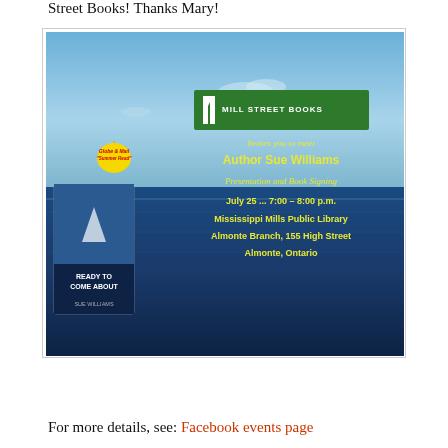Street Books! Thanks Mary!
[Figure (illustration): Promotional event poster for Mill Street Books inviting readers to meet Author Sue Williams for a Presentation and Book Signing on July 25, 7:00-8:00 p.m. at Mississippi Mills Public Library, Almonte Branch, 155 High Street, Almonte, Ontario. Features ocean background, book cover of 'Ready to Come About' by Sue Williams, and Mill Street Books green logo.]
For more details, see: Facebook events page